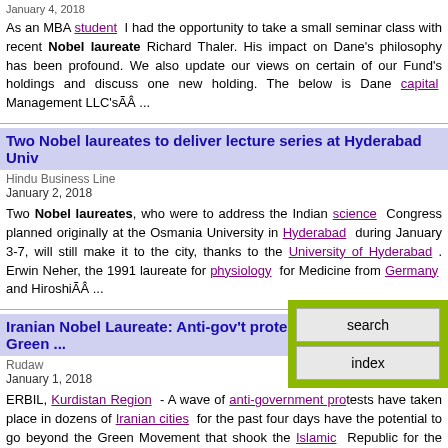January 4, 2018
As an MBA student I had the opportunity to take a small seminar class with recent Nobel laureate Richard Thaler. His impact on Dane's philosophy has been profound. We also update our views on certain of our Fund's holdings and discuss one new holding. The below is Dane capital Management LLC'sÃÂ ...
Two Nobel laureates to deliver lecture series at Hyderabad Univ
Hindu Business Line
January 2, 2018
Two Nobel laureates, who were to address the Indian science Congress planned originally at the Osmania University in Hyderabad during January 3-7, will still make it to the city, thanks to the University of Hyderabad . Erwin Neher, the 1991 laureate for physiology for Medicine from Germany and HiroshiÃÂ ...
Iranian Nobel Laureate: Anti-gov't protests can go beyond Green ...
Rudaw
January 1, 2018
ERBIL, Kurdistan Region - A wave of anti-government protests have taken place in dozens of Iranian cities for the past four days have the potential to go beyond the Green Movement that shook the Islamic Republic for the first time in 2009, the renowned Nobel laureate ShirinÃÂ ...